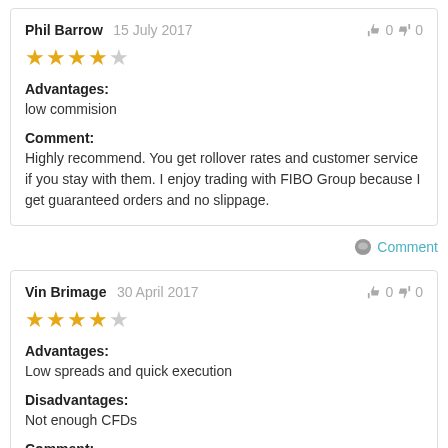Phil Barrow 15 July 2017  👍 0 👎 0
★★★★☆
Advantages: low commision
Comment: Highly recommend. You get rollover rates and customer service if you stay with them. I enjoy trading with FIBO Group because I get guaranteed orders and no slippage.
💬 Comment
Vin Brimage 30 April 2017  👍 0 👎 0
★★★★☆
Advantages: Low spreads and quick execution
Disadvantages: Not enough CFDs
Comment: